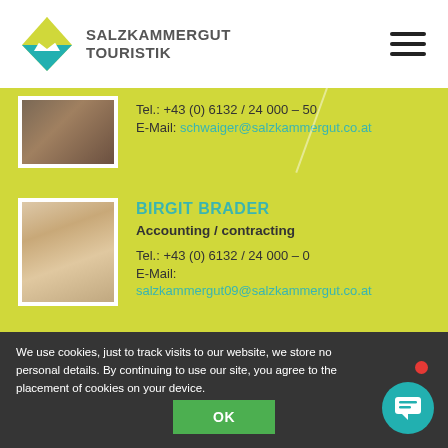[Figure (logo): Salzkammergut Touristik logo with mountain/water graphic and text]
Tel.: +43 (0) 6132 / 24 000 – 50
E-Mail: schwaiger@salzkammergut.co.at
BIRGIT BRADER
Accounting / contracting
Tel.: +43 (0) 6132 / 24 000 – 0
E-Mail: salzkammergut09@salzkammergut.co.at
PETER SEEBACHER, BSC
We use cookies, just to track visits to our website, we store no personal details. By continuing to use our site, you agree to the placement of cookies on your device.